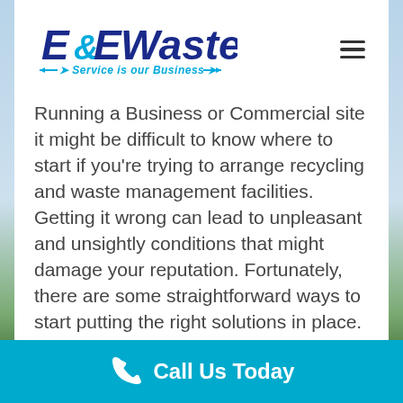[Figure (logo): E&E Waste logo with tagline 'Service is our Business' in dark blue and cyan colors]
Running a Business or Commercial site it might be difficult to know where to start if you're trying to arrange recycling and waste management facilities. Getting it wrong can lead to unpleasant and unsightly conditions that might damage your reputation. Fortunately, there are some straightforward ways to start putting the right solutions in place. In
READ MORE
Call Us Today